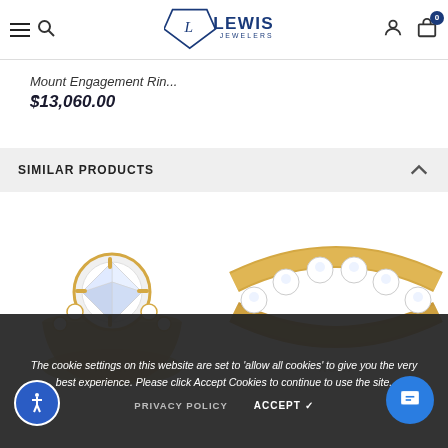Lewis Jewelers
Mount Engagement Rin...
$13,060.00
SIMILAR PRODUCTS
[Figure (photo): Two diamond engagement rings on yellow gold bands displayed side by side]
The cookie settings on this website are set to 'allow all cookies' to give you the very best experience. Please click Accept Cookies to continue to use the site.
PRIVACY POLICY   ACCEPT ✓